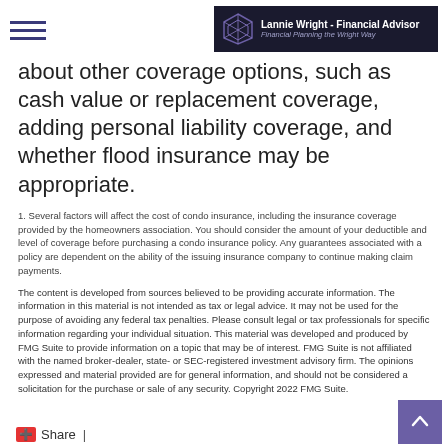Lannie Wright – Financial Advisor | Financial Planning the Wright Way
about other coverage options, such as cash value or replacement coverage, adding personal liability coverage, and whether flood insurance may be appropriate.
1. Several factors will affect the cost of condo insurance, including the insurance coverage provided by the homeowners association. You should consider the amount of your deductible and level of coverage before purchasing a condo insurance policy. Any guarantees associated with a policy are dependent on the ability of the issuing insurance company to continue making claim payments.
The content is developed from sources believed to be providing accurate information. The information in this material is not intended as tax or legal advice. It may not be used for the purpose of avoiding any federal tax penalties. Please consult legal or tax professionals for specific information regarding your individual situation. This material was developed and produced by FMG Suite to provide information on a topic that may be of interest. FMG Suite is not affiliated with the named broker-dealer, state- or SEC-registered investment advisory firm. The opinions expressed and material provided are for general information, and should not be considered a solicitation for the purchase or sale of any security. Copyright 2022 FMG Suite.